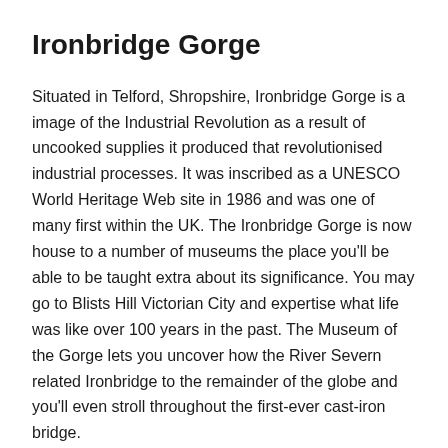Ironbridge Gorge
Situated in Telford, Shropshire, Ironbridge Gorge is a image of the Industrial Revolution as a result of uncooked supplies it produced that revolutionised industrial processes. It was inscribed as a UNESCO World Heritage Web site in 1986 and was one of many first within the UK. The Ironbridge Gorge is now house to a number of museums the place you'll be able to be taught extra about its significance. You may go to Blists Hill Victorian City and expertise what life was like over 100 years in the past. The Museum of the Gorge lets you uncover how the River Severn related Ironbridge to the remainder of the globe and you'll even stroll throughout the first-ever cast-iron bridge.
Stonehenge